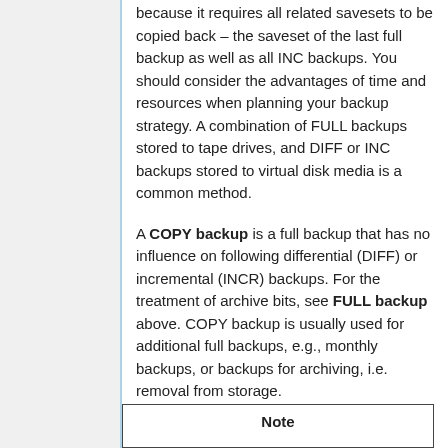because it requires all related savesets to be copied back – the saveset of the last full backup as well as all INC backups. You should consider the advantages of time and resources when planning your backup strategy. A combination of FULL backups stored to tape drives, and DIFF or INC backups stored to virtual disk media is a common method.
A COPY backup is a full backup that has no influence on following differential (DIFF) or incremental (INCR) backups. For the treatment of archive bits, see FULL backup above. COPY backup is usually used for additional full backups, e.g., monthly backups, or backups for archiving, i.e. removal from storage.
| Note |
| --- |